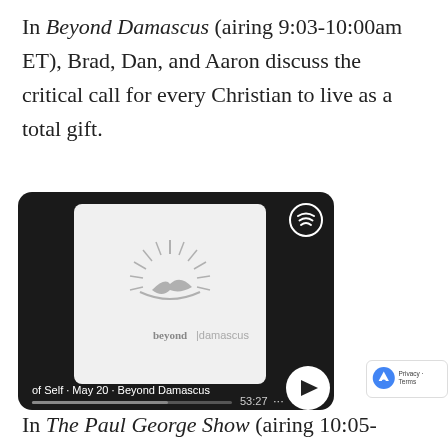In Beyond Damascus (airing 9:03-10:00am ET), Brad, Dan, and Aaron discuss the critical call for every Christian to live as a total gift.
[Figure (screenshot): Spotify podcast player card on dark background showing Beyond Damascus podcast album art with sunburst logo and text 'beyond damascus'. Track info shows: 'of Self · May 20 · Beyond Damascus', duration 53:27, with play button and progress bar.]
In The Paul George Show (airing 10:05-